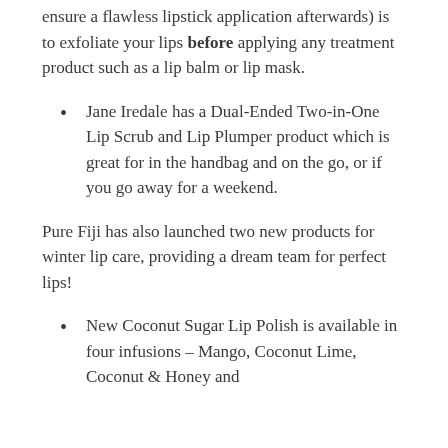ensure a flawless lipstick application afterwards) is to exfoliate your lips before applying any treatment product such as a lip balm or lip mask.
Jane Iredale has a Dual-Ended Two-in-One Lip Scrub and Lip Plumper product which is great for in the handbag and on the go, or if you go away for a weekend.
Pure Fiji has also launched two new products for winter lip care, providing a dream team for perfect lips!
New Coconut Sugar Lip Polish is available in four infusions – Mango, Coconut Lime, Coconut & Honey and